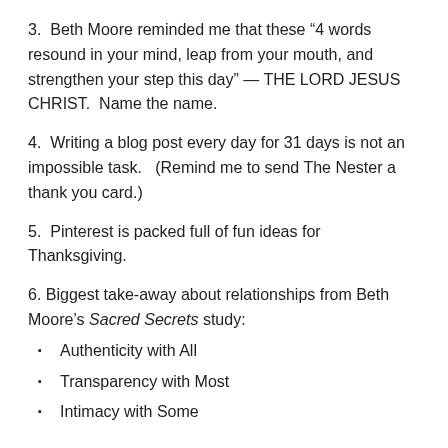3.  Beth Moore reminded me that these “4 words resound in your mind, leap from your mouth, and strengthen your step this day” — THE LORD JESUS CHRIST.  Name the name.
4.  Writing a blog post every day for 31 days is not an impossible task.   (Remind me to send The Nester a thank you card.)
5.  Pinterest is packed full of fun ideas for Thanksgiving.
6. Biggest take-away about relationships from Beth Moore’s Sacred Secrets study:
Authenticity with All
Transparency with Most
Intimacy with Some